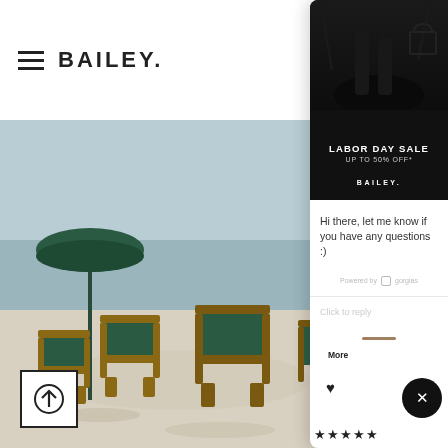[Figure (screenshot): Website header with hamburger menu icon and BAILEY brand logo on white background]
[Figure (photo): Beach scene with green folding chairs and a dark umbrella on white sand near calm ocean water]
[Figure (screenshot): Chat widget popup panel showing a BAILEY Labor Day Sale advertisement banner (dark background, white text: LABOR DAY SALE UP TO 50% OFF*, BAILEY), a chat message reading 'Hi there, let me know if you have any questions :)', powered by gorgias branding, and a 'Click to reply' input field]
LABOR DAY SALE
UP TO 50% OFF*
BAILEY.
Hi there, let me know if you have any questions :)
Powered by gorgias
Click to reply
More